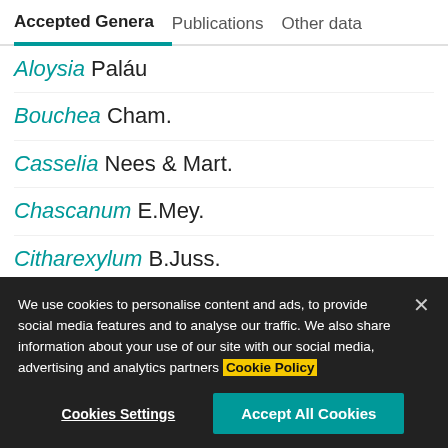Accepted Genera | Publications | Other data
Aloysia Paláu
Bouchea Cham.
Casselia Nees & Mart.
Chascanum E.Mey.
Citharexylum B.Juss.
Coelocarpum Balf.f.
Diostea Miers
Diphtychocaly (Grisch.) Greuter & B.Ponkin
We use cookies to personalise content and ads, to provide social media features and to analyse our traffic. We also share information about your use of our site with our social media, advertising and analytics partners Cookie Policy
Cookies Settings | Accept All Cookies